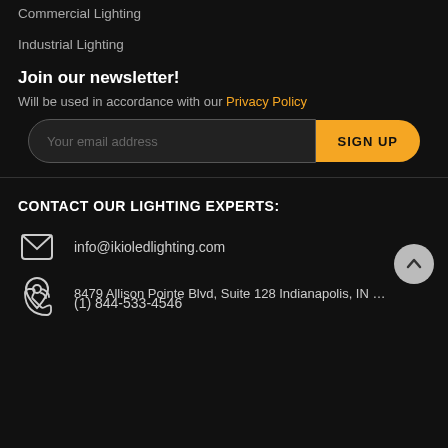Commercial Lighting
Industrial Lighting
Join our newsletter!
Will be used in accordance with our Privacy Policy
Your email address
SIGN UP
CONTACT OUR LIGHTING EXPERTS:
info@ikioledlighting.com
(1) 844-533-4546
8479 Allison Pointe Blvd, Suite 128 Indianapolis, IN 46250